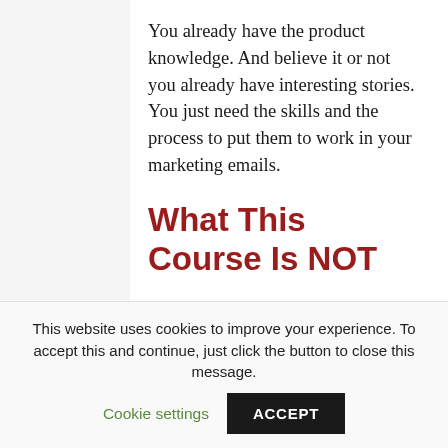You already have the product knowledge. And believe it or not you already have interesting stories. You just need the skills and the process to put them to work in your marketing emails.
What This Course Is NOT
This course is not a passive series of webinars. This is not a course where
This website uses cookies to improve your experience. To accept this and continue, just click the button to close this message.